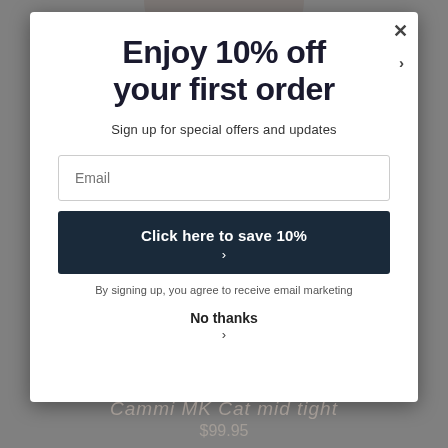Enjoy 10% off your first order
Sign up for special offers and updates
Email
Click here to save 10%
By signing up, you agree to receive email marketing
No thanks